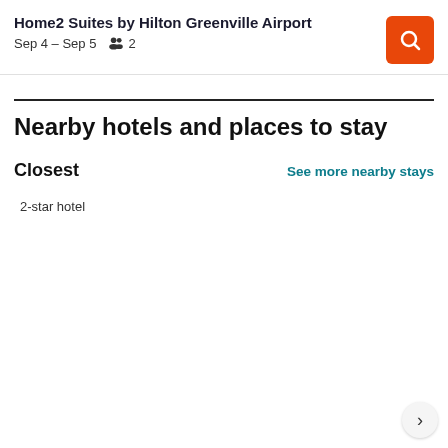Home2 Suites by Hilton Greenville Airport
Sep 4 – Sep 5   2
Nearby hotels and places to stay
Closest
See more nearby stays
2-star hotel